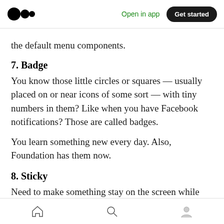Medium — Open in app  Get started
the default menu components.
7. Badge
You know those little circles or squares — usually placed on or near icons of some sort — with tiny numbers in them? Like when you have Facebook notifications? Those are called badges.
You learn something new every day. Also, Foundation has them now.
8. Sticky
Need to make something stay on the screen while
Home  Search  Profile